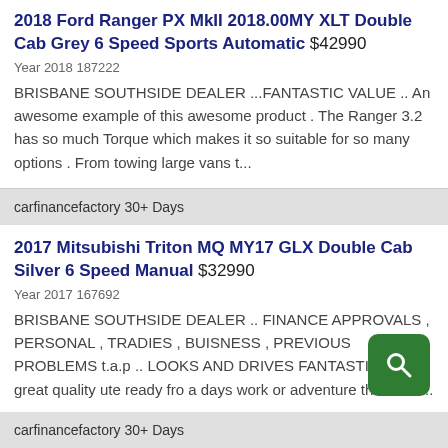2018 Ford Ranger PX MkII 2018.00MY XLT Double Cab Grey 6 Speed Sports Automatic $42990
Year 2018 187222
BRISBANE SOUTHSIDE DEALER ...FANTASTIC VALUE .. An awesome example of this awesome product . The Ranger 3.2 has so much Torque which makes it so suitable for so many options . From towing large vans t...
carfinancefactory 30+ Days
2017 Mitsubishi Triton MQ MY17 GLX Double Cab Silver 6 Speed Manual $32990
Year 2017 167692
BRISBANE SOUTHSIDE DEALER .. FINANCE APPROVALS , PERSONAL , TRADIES , BUISNESS , PREVIOUS PROBLEMS t.a.p .. LOOKS AND DRIVES FANTASTIC .A great quality ute ready fro a days work or adventure the choic...
carfinancefactory 30+ Days